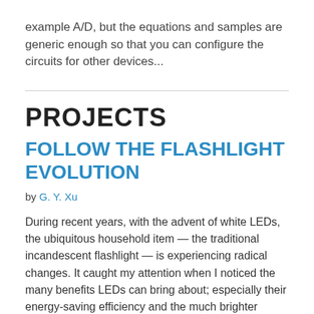example A/D, but the equations and samples are generic enough so that you can configure the circuits for other devices...
PROJECTS
FOLLOW THE FLASHLIGHT EVOLUTION
by G. Y. Xu
During recent years, with the advent of white LEDs, the ubiquitous household item — the traditional incandescent flashlight — is experiencing radical changes. It caught my attention when I noticed the many benefits LEDs can bring about; especially their energy-saving efficiency and the much brighter luminous intensity....